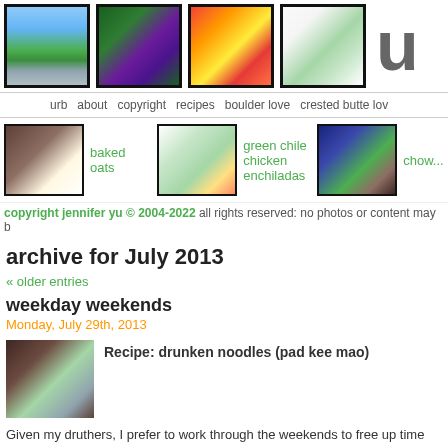[Figure (photo): Header with four food/nature photos and large letter U]
urb  about  copyright  recipes  boulder love  crested butte lov...
[Figure (photo): Recipe thumbnail: baked oats]
baked oats
[Figure (photo): Recipe thumbnail: green chile chicken enchiladas]
green chile chicken enchiladas
[Figure (photo): Recipe thumbnail: chow...]
chow...
copyright jennifer yu © 2004-2022 all rights reserved: no photos or content may b...
archive for July 2013
« older entries
weekday weekends
Monday, July 29th, 2013
[Figure (photo): Food photo: drunken noodles (pad kee mao)]
Recipe: drunken noodles (pad kee mao)
Given my druthers, I prefer to work through the weekends to free up time during t... that luxury of choice because I want to avoid crowds and traffic and people behav...